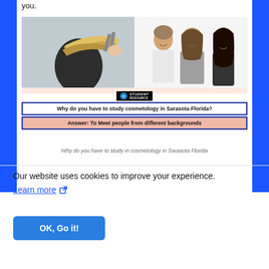you.
[Figure (photo): Two-panel image: left panel shows a hairdresser cutting blonde hair with scissors; right panel shows three young women smiling together. Below the photos is an overlay with 'Student Resource' logo. Two text boxes are overlaid: one blue-bordered reading 'Why do you have to study cosmetology in Sarasota Florida?' and a salmon/pink-bordered reading 'Answer: To Meet people from different backgrounds'.]
Why do you have to study in cosmetology in Sarasota Florida
Our website uses cookies to improve your experience.
Learn more ↗
OK, Go it!